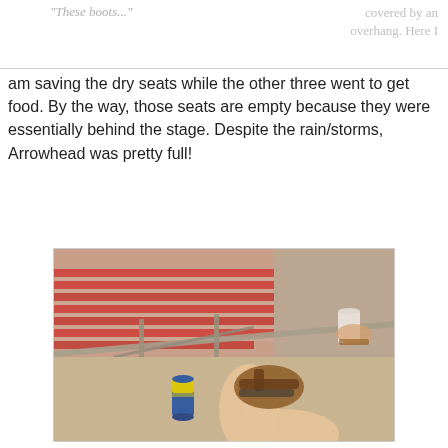"These boots..."
covered by an overhang.  Here I
am saving the dry seats while the other three went to get food.  By the way, those seats are empty because they were essentially behind the stage.  Despite the rain/storms, Arrowhead was pretty full!
[Figure (photo): Photo taken from stadium upper level concourse area looking down at rows of red stadium seats. A person's feet in sandals are visible in the foreground, along with a beer can on the concrete floor. A white cup is visible in the background. The stadium seating area is visible with red seats, many empty.]